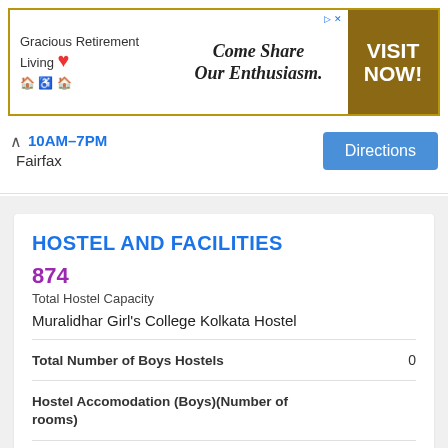[Figure (other): Advertisement banner for Gracious Retirement Living with slogan 'Come Share Our Enthusiasm.' and VISIT NOW! call to action button]
10AM–7PM    Directions    Fairfax
HOSTEL AND FACILITIES
874
Total Hostel Capacity
Muralidhar Girl's College Kolkata Hostel
| Facility | Value |
| --- | --- |
| Total Number of Boys Hostels | 0 |
| Hostel Accomodation (Boys)(Number of rooms) |  |
| Boys Hostel(Number of beds) |  |
| Boys Hostel(Average Area per Bed) |  |